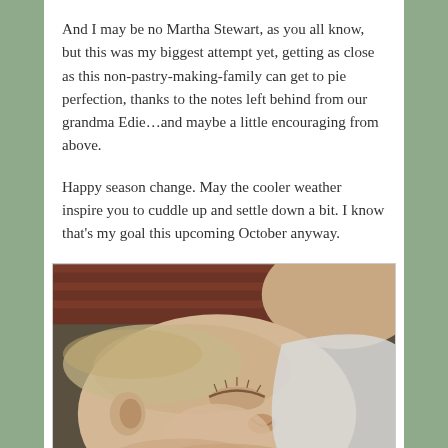And I may be no Martha Stewart, as you all know, but this was my biggest attempt yet, getting as close as this non-pastry-making-family can get to pie perfection, thanks to the notes left behind from our grandma Edie…and maybe a little encouraging from above.
Happy season change. May the cooler weather inspire you to cuddle up and settle down a bit. I know that's my goal this upcoming October anyway.
[Figure (photo): Close-up photograph of a sleeping baby, face in profile, with light hair and closed eyes. In the background, red shelving or furniture is visible.]